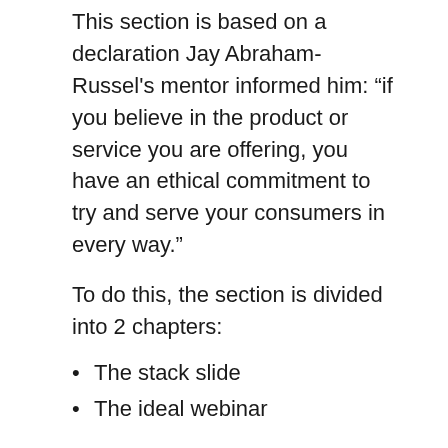This section is based on a declaration Jay Abraham-Russel's mentor informed him: “if you believe in the product or service you are offering, you have an ethical commitment to try and serve your consumers in every way.”
To do this, the section is divided into 2 chapters:
The stack slide
The ideal webinar
The stack slide clearly breaks down to the client all the value that you’re providing. While the best webinar shows how to use the webinar as a best selling tool, this is most perhaps among my